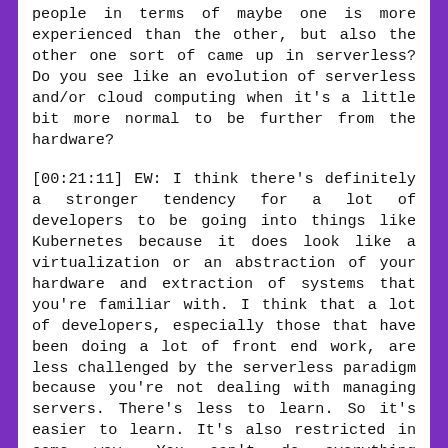people in terms of maybe one is more experienced than the other, but also the other one sort of came up in serverless? Do you see like an evolution of serverless and/or cloud computing when it's a little bit more normal to be further from the hardware?
[00:21:11] EW: I think there's definitely a stronger tendency for a lot of developers to be going into things like Kubernetes because it does look like a virtualization or an abstraction of your hardware and extraction of systems that you're familiar with. I think that a lot of developers, especially those that have been doing a lot of front end work, are less challenged by the serverless paradigm because you're not dealing with managing servers. There's less to learn. So it's easier to learn. It's also restricted in some way. You can't do everything serverlessly. So you can't not do containers or Docker or